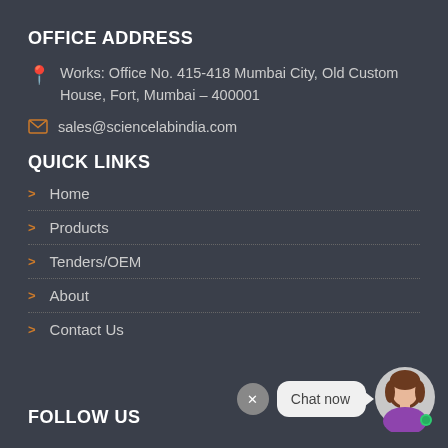OFFICE ADDRESS
Works: Office No. 415-418 Mumbai City, Old Custom House, Fort, Mumbai – 400001
sales@sciencelabindia.com
QUICK LINKS
Home
Products
Tenders/OEM
About
Contact Us
FOLLOW US
[Figure (illustration): Chat widget with close button (x), speech bubble saying 'Chat now', and avatar of a woman with brown hair]